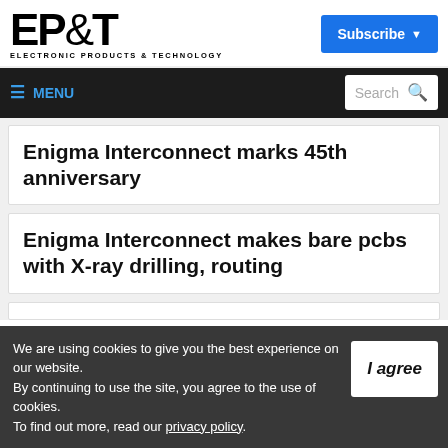[Figure (logo): EP&T Electronic Products & Technology logo]
Subscribe
≡ MENU  Search
Enigma Interconnect marks 45th anniversary
Enigma Interconnect makes bare pcbs with X-ray drilling, routing
We are using cookies to give you the best experience on our website.
By continuing to use the site, you agree to the use of cookies.
To find out more, read our privacy policy.